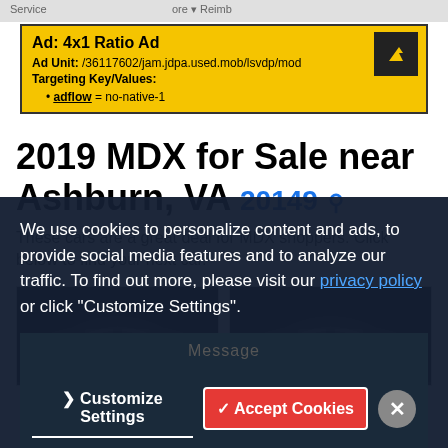Service ... Reimb... ore
[Figure (infographic): Ad unit banner: 4x1 Ratio Ad. Ad Unit: /36117602/jam.jdpa.used.mob/lsvdp/mod. Targeting Key/Values: adflow = no-native-1. Yellow background with dark ad icon.]
2019 MDX for Sale near Ashburn, VA 20149
These cars are a great deal for MDX shoppers. Click below to find your next car.
[Figure (photo): Two dark-colored Acura MDX SUV cars shown side by side in image cards]
We use cookies to personalize content and ads, to provide social media features and to analyze our traffic. To find out more, please visit our privacy policy or click "Customize Settings".
Message
❯ Customize Settings   ✓ Accept Cookies   ✕